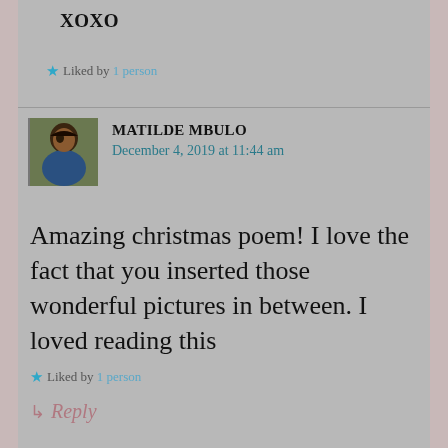XOXO
★ Liked by 1 person
MATILDE MBULO
December 4, 2019 at 11:44 am
Amazing christmas poem! I love the fact that you inserted those wonderful pictures in between. I loved reading this
★ Liked by 1 person
↳ Reply